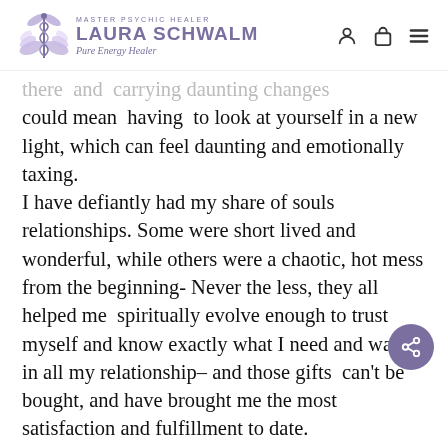MASTER PSYCHIC HEALER LAURA SCHWALM Pure Energy Healer
there and carrying daunting changes could mean having to look at yourself in a new light, which can feel daunting and emotionally taxing. I have defiantly had my share of souls relationships. Some were short lived and wonderful, while others were a chaotic, hot mess from the beginning- Never the less, they all helped me spiritually evolve enough to trust myself and know exactly what I need and want in all my relationship– and those gifts can't be bought, and have brought me the most satisfaction and fulfillment to date. Relationship Problems? Heal yourself of